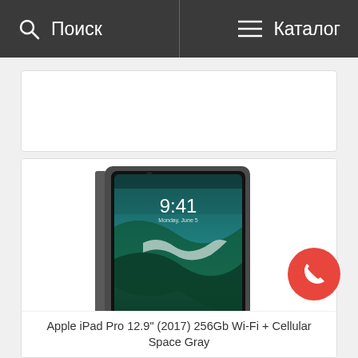Поиск   Каталог
[Figure (photo): Apple iPad Pro 12.9 inch (2017) shown in Space Gray color with iOS lock screen displaying time 9:41 and a wave ocean wallpaper]
Apple iPad Pro 12.9" (2017) 256Gb Wi-Fi + Cellular Space Gray